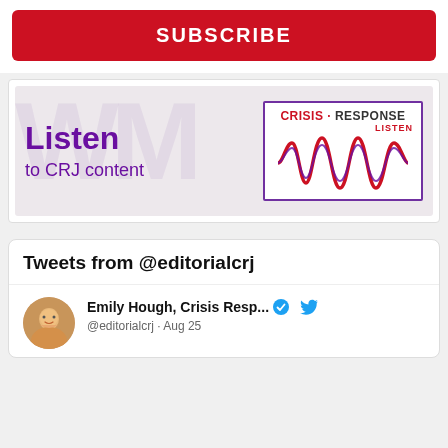SUBSCRIBE
[Figure (illustration): Listen to CRJ content banner with Crisis Response Journal logo and waveform graphic]
Tweets from @editorialcrj
Emily Hough, Crisis Resp... @editorialcrj · Aug 25